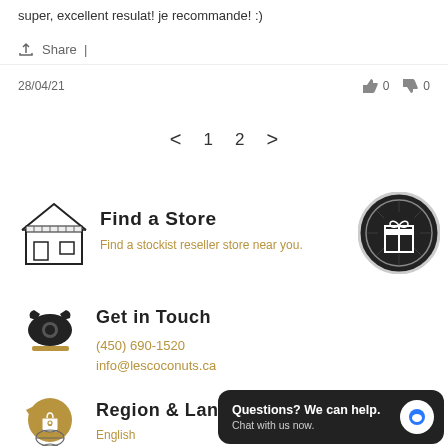super, excellent resulat! je recommande! :)
Share |
28/04/21
< 1 2 >
Find a Store
Find a stockist reseller store near you.
Get in Touch
(450) 690-1520
info@lescoconuts.ca
Region & Lang
English
Questions? We can help. Chat with us now.